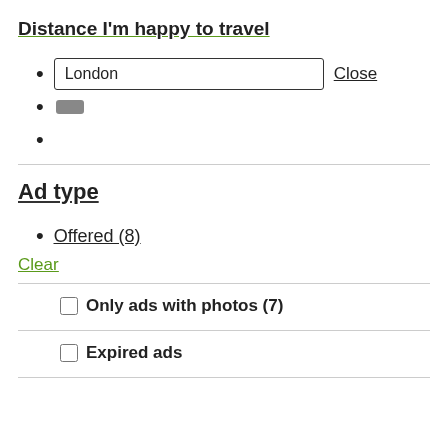Distance I'm happy to travel
London  Close
— (minus button)
Ad type
Offered (8)
Clear
Only ads with photos (7)
Expired ads